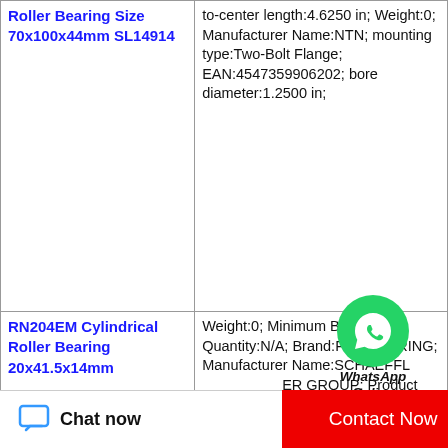| Product Name | Specifications |
| --- | --- |
| Roller Bearing Size 70x100x44mm SL14914 | to-center length:4.6250 in; Weight:0; Manufacturer Name:NTN; mounting type:Two-Bolt Flange; EAN:4547359906202; bore diameter:1.2500 in; |
| RN204EM Cylindrical Roller Bearing 20x41.5x14mm | Weight:0; Minimum Buy Quantity:N/A; Brand:FAG BEARING; Manufacturer Name:SCHAEFFLER GROUP; Product Group:B04270; Inventory:0.0; EAN:4012801988148; Category:Bearings; |
| SL18 2944 Cylindrical ... | Inventory:0.0; Category:Bearings; EAN:0053893654096; ... |
[Figure (logo): WhatsApp green circle logo with phone icon and 'WhatsApp Online' text]
Chat now
Contact Now